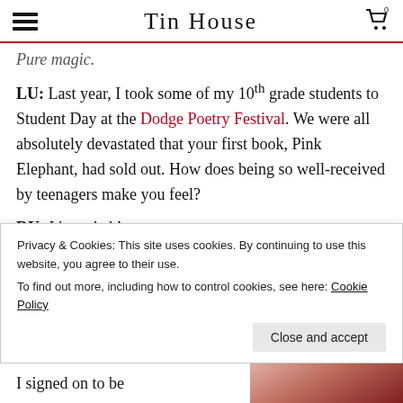Tin House
Pure magic.
LU: Last year, I took some of my 10th grade students to Student Day at the Dodge Poetry Festival. We were all absolutely devastated that your first book, Pink Elephant, had sold out. How does being so well-received by teenagers make you feel?
RU: It's probably
Privacy & Cookies: This site uses cookies. By continuing to use this website, you agree to their use.
To find out more, including how to control cookies, see here: Cookie Policy
I signed on to be